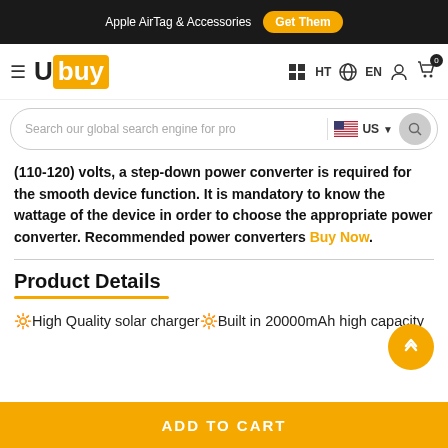Apple AirTag & Accessories  Get Them
[Figure (logo): Ubuy logo with hamburger menu and navigation icons (HT, EN, user, cart with 0)]
[Figure (screenshot): Search bar with placeholder 'Search our global search engine for pro', US flag country selector, and search button]
(110-120) volts, a step-down power converter is required for the smooth device function. It is mandatory to know the wattage of the device in order to choose the appropriate power converter. Recommended power converters Buy Now.
Product Details
🔆High Quality solar charger🔆Built in 20000mAh high capacity
ADD TO CART